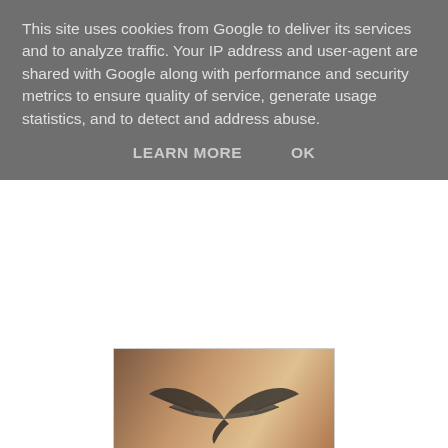This site uses cookies from Google to deliver its services and to analyze traffic. Your IP address and user-agent are shared with Google along with performance and security metrics to ensure quality of service, generate usage statistics, and to detect and address abuse.
LEARN MORE    OK
[Figure (photo): Book cover for Shuttered Affections by Rene Folsom showing a woman's back with a wing tattoo and blonde hair]
Title: Shuttered Affections
Author: Rene Folsom
Genre: Romantic Suspense
Publication Date: October 15, 2013
Hosted By: Dreams Come True Promotions